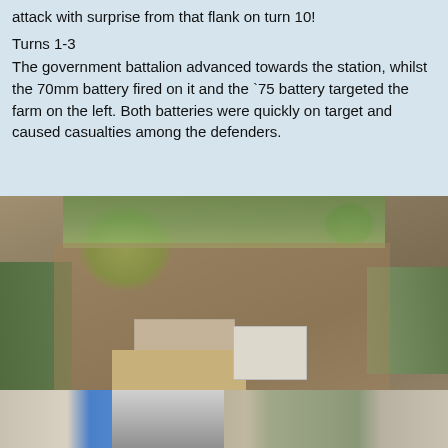attack with surprise from that flank on turn 10!
Turns 1-3
The government battalion advanced towards the station, whilst the 70mm battery fired on it and the `75 battery targeted the farm on the left. Both batteries were quickly on target and caused casualties among the defenders.
[Figure (photo): Aerial view of a wargame tabletop showing miniature terrain with farm buildings, fences, trees, and military figures on a sandy/brown ground mat]
[Figure (photo): Partial view of another tabletop wargame scene showing buildings, trees, and miniature figures]